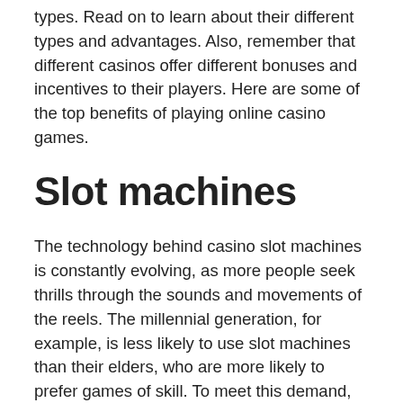types. Read on to learn about their different types and advantages. Also, remember that different casinos offer different bonuses and incentives to their players. Here are some of the top benefits of playing online casino games.
Slot machines
The technology behind casino slot machines is constantly evolving, as more people seek thrills through the sounds and movements of the reels. The millennial generation, for example, is less likely to use slot machines than their elders, who are more likely to prefer games of skill. To meet this demand, new skill-based machines are being designed. Sports betting is also growing in popularity, and combination betting machines would enable players to place a bet on both sports and slots at the same time. Some